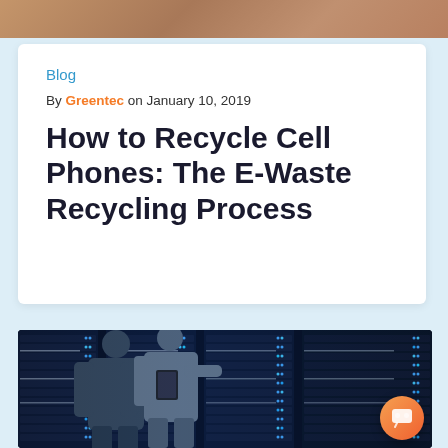[Figure (photo): Top cropped photo showing a person's torso/hands area with warm skin tones]
Blog
By Greentec on January 10, 2019
How to Recycle Cell Phones: The E-Waste Recycling Process
[Figure (photo): Two men standing in a dark server room with large server racks lit with blue LED lights; one man holds a tablet while the other points at a server]